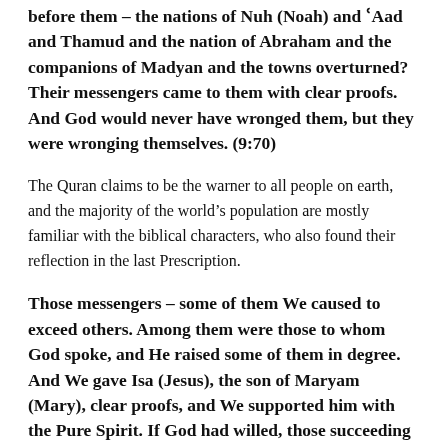before them – the nations of Nuh (Noah) and 'Aad and Thamud and the nation of Abraham and the companions of Madyan and the towns overturned? Their messengers came to them with clear proofs. And God would never have wronged them, but they were wronging themselves. (9:70)
The Quran claims to be the warner to all people on earth, and the majority of the world's population are mostly familiar with the biblical characters, who also found their reflection in the last Prescription.
Those messengers – some of them We caused to exceed others. Among them were those to whom God spoke, and He raised some of them in degree. And We gave Isa (Jesus), the son of Maryam (Mary), clear proofs, and We supported him with the Pure Spirit. If God had willed, those succeeding them would not have fought each other after the clear proofs had come to them.